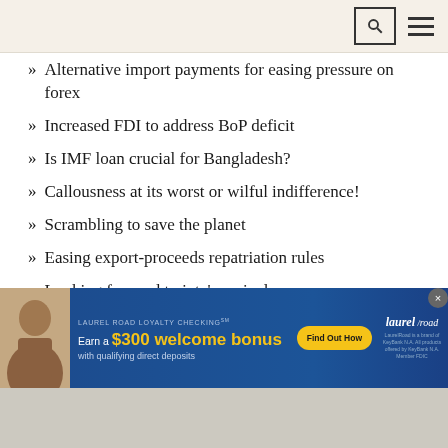Search and menu navigation bar
Alternative import payments for easing pressure on forex
Increased FDI to address BoP deficit
Is IMF loan crucial for Bangladesh?
Callousness at its worst or wilful indifference!
Scrambling to save the planet
Easing export-proceeds repatriation rules
Looking forward to jute's revival
The real wage debate
[Figure (advertisement): Laurel Road Loyalty Checking advertisement banner. Blue background. Text: LAUREL ROAD LOYALTY CHECKING. Earn a $300 welcome bonus with qualifying direct deposits. Find Out How button. Laurel Road logo with fine print about KeyBank.]